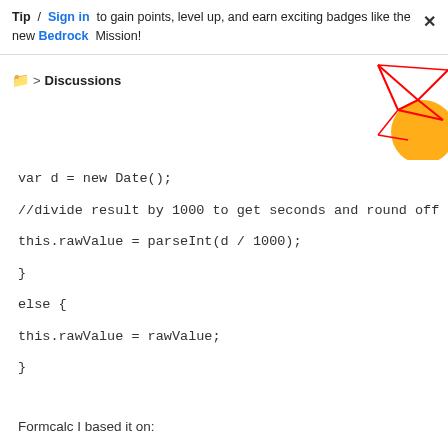Tip / Sign in to gain points, level up, and earn exciting badges like the new Bedrock Mission!
Discussions
[Figure (illustration): Decorative geometric red line art with orange circle shapes in the top-right corner]
var d = new Date();
//divide result by 1000 to get seconds and round off
this.rawValue = parseInt(d / 1000);
}
else {
this.rawValue = rawValue;
}
Formcalc I based it on: